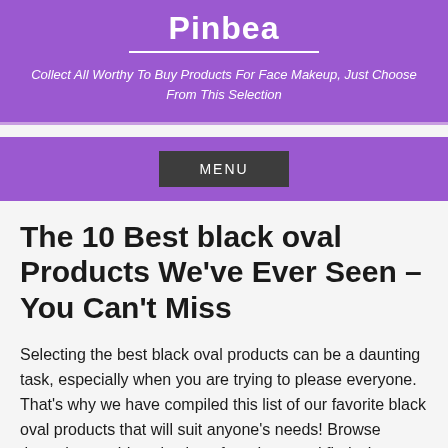Pinbea
Collect All Worthy To Buy Products For Face Makeup, Just Choose From This Selection
MENU
The 10 Best black oval Products We&#039;ve Ever Seen – You Can&#039;t Miss
Selecting the best black oval products can be a daunting task, especially when you are trying to please everyone. That's why we have compiled this list of our favorite black oval products that will suit anyone's needs! Browse through our wide selection of products and find what you need today.